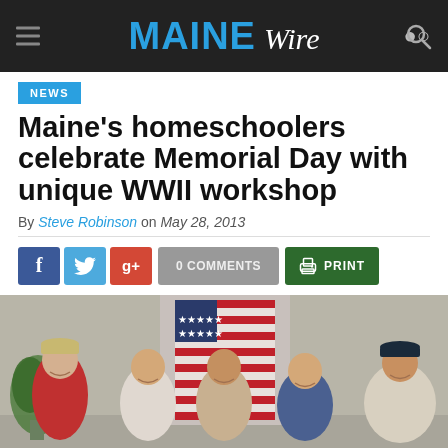MAINE Wire
NEWS
Maine's homeschoolers celebrate Memorial Day with unique WWII workshop
By Steve Robinson on May 28, 2013
[Figure (infographic): Social sharing buttons: Facebook (f), Twitter, Google+, 0 COMMENTS, PRINT]
[Figure (photo): Five elderly WWII veterans standing together in front of an American flag, smiling for a group photo in an indoor setting]